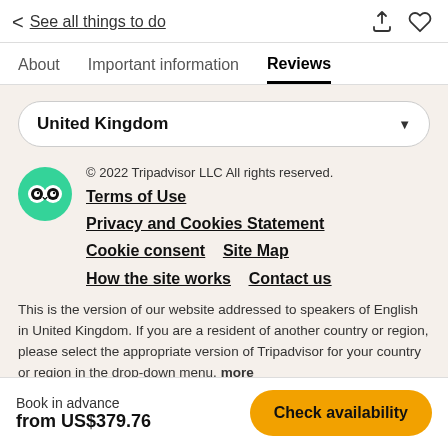< See all things to do
About   Important information   Reviews
United Kingdom
© 2022 Tripadvisor LLC All rights reserved.
Terms of Use
Privacy and Cookies Statement
Cookie consent   Site Map
How the site works   Contact us
This is the version of our website addressed to speakers of English in United Kingdom. If you are a resident of another country or region, please select the appropriate version of Tripadvisor for your country or region in the drop-down menu. more
Book in advance
from US$379.76
Check availability